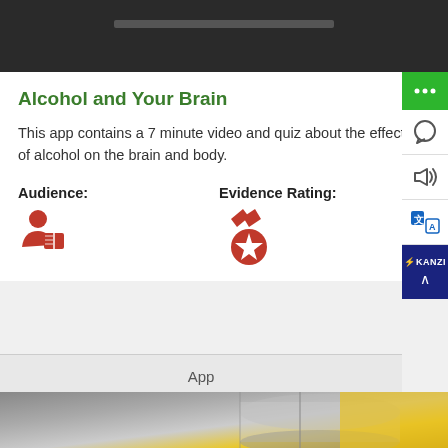[Figure (screenshot): Dark header area at top of page, partially cropped]
Alcohol and Your Brain
This app contains a 7 minute video and quiz about the effects of alcohol on the brain and body.
Audience:
Evidence Rating:
App
[Figure (photo): Partial photo of what appears to be a bottle or cylinder with metallic and yellow coloring, partially cropped at bottom]